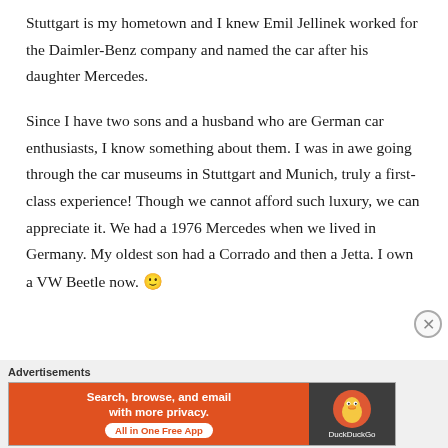Stuttgart is my hometown and I knew Emil Jellinek worked for the Daimler-Benz company and named the car after his daughter Mercedes.
Since I have two sons and a husband who are German car enthusiasts, I know something about them. I was in awe going through the car museums in Stuttgart and Munich, truly a first-class experience! Though we cannot afford such luxury, we can appreciate it. We had a 1976 Mercedes when we lived in Germany. My oldest son had a Corrado and then a Jetta. I own a VW Beetle now. 🙂
Advertisements
[Figure (other): DuckDuckGo advertisement banner: orange background on left with text 'Search, browse, and email with more privacy. All in One Free App', dark background on right with DuckDuckGo logo and name.]